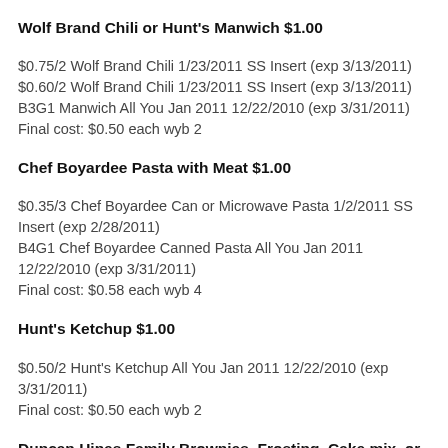Wolf Brand Chili or Hunt's Manwich $1.00
$0.75/2 Wolf Brand Chili 1/23/2011 SS Insert (exp 3/13/2011)
$0.60/2 Wolf Brand Chili 1/23/2011 SS Insert (exp 3/13/2011)
B3G1 Manwich All You Jan 2011 12/22/2010 (exp 3/31/2011)
Final cost: $0.50 each wyb 2
Chef Boyardee Pasta with Meat $1.00
$0.35/3 Chef Boyardee Can or Microwave Pasta 1/2/2011 SS Insert (exp 2/28/2011)
B4G1 Chef Boyardee Canned Pasta All You Jan 2011 12/22/2010 (exp 3/31/2011)
Final cost: $0.58 each wyb 4
Hunt's Ketchup $1.00
$0.50/2 Hunt's Ketchup All You Jan 2011 12/22/2010 (exp 3/31/2011)
Final cost: $0.50 each wyb 2
Duncan Hines Family Brownies, Frosting, Cake mix, or Cupcake Mix $1.00
$0.50/1 Duncan Hines Brownies
B2G1 Duncan Hines Frosting Get Cake Mix Free